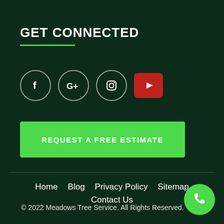GET CONNECTED
[Figure (infographic): Social media icons: Facebook (circle), Google+ (circle), Instagram (circle), YouTube (red rounded rectangle)]
REQUEST A FREE ESTIMATE
Home
Blog
Privacy Policy
Sitemap
Contact Us
© 2022 Meadows Tree Service. All Rights Reserved.